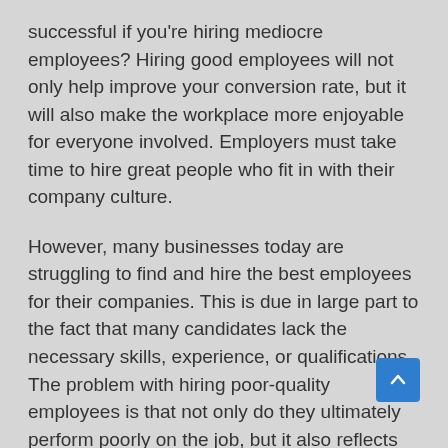successful if you're hiring mediocre employees? Hiring good employees will not only help improve your conversion rate, but it will also make the workplace more enjoyable for everyone involved. Employers must take time to hire great people who fit in with their company culture.
However, many businesses today are struggling to find and hire the best employees for their companies. This is due in large part to the fact that many candidates lack the necessary skills, experience, or qualifications. The problem with hiring poor-quality employees is that not only do they ultimately perform poorly on the job, but it also reflects badly on your company as a whole.
Your customers will see this as you being unreliable or untrustworthy, which can cause them to take their business elsewhere. Hiring bad employees can even lead to legal trouble if